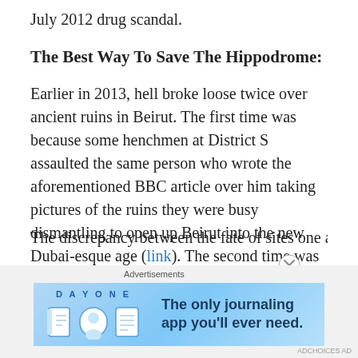July 2012 drug scandal.
The Best Way To Save The Hippodrome:
Earlier in 2013, hell broke loose twice over ancient ruins in Beirut. The first time was because some henchmen at District S assaulted the same person who wrote the aforementioned BBC article over him taking pictures of the ruins they were busy dismantling to open up Beirut into the new Dubai-esque age (link). The second time was due to Lebanon's possibly oldest Church getting discovered at another site where a Jean Nouvel hotel was to be built (link).
The discrepancy between the fate of sites one and two is
[Figure (other): Advertisement banner for Day One journaling app with blue gradient background, showing app icons and text 'The only journaling app you'll ever need.']